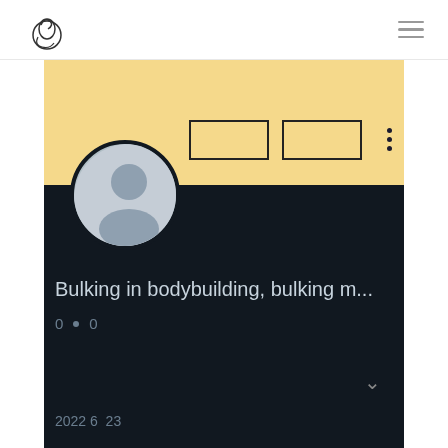[Logo] [Hamburger menu]
[Figure (illustration): Yellow banner background with two outlined button placeholders and a three-dot menu icon on the right. A circular profile avatar (grey silhouette) overlaps the banner and dark section.]
Bulking in bodybuilding, bulking m...
0  •  0
2022 6  23